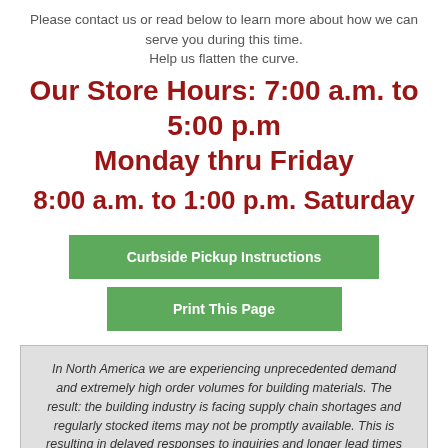Please contact us or read below to learn more about how we can serve you during this time.
Help us flatten the curve.
Our Store Hours: 7:00 a.m. to 5:00 p.m Monday thru Friday
8:00 a.m. to 1:00 p.m. Saturday
Curbside Pickup Instructions
Print This Page
In North America we are experiencing unprecedented demand and extremely high order volumes for building materials. The result: the building industry is facing supply chain shortages and regularly stocked items may not be promptly available. This is resulting in delayed responses to inquiries and longer lead times for delivery and pickups. As part of the Castle Building Centres Group, we are aggressively seeking to address these shortages and ask